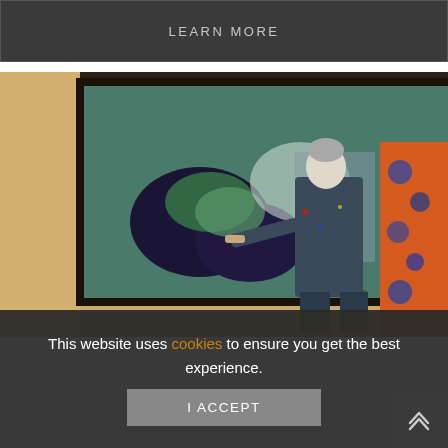LEARN MORE
[Figure (photo): An elderly artist with gray hair working in an art studio, painting or examining a large canvas with abstract colorful paintings in the background]
This website uses cookies to ensure you get the best experience.
I ACCEPT